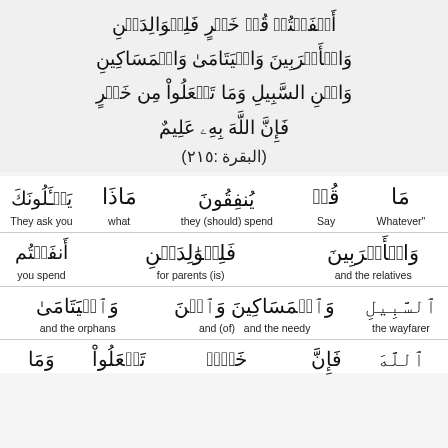Arabic Quran verse 2:215 with word-by-word translation showing يَسْأَلُونَكَ مَاذَا يُنفِقُونَ قُلْ مَا أَنفَقْتُم مِّنْ خَيْرٍ فَلِلْوَالِدَيْنِ وَالْأَقْرَبِينَ وَالْيَتَامَىٰ وَالْمَسَاكِينِ وَابْنِ السَّبِيلِ وَمَا تَفْعَلُوا مِنْ خَيْرٍ فَإِنَّ اللَّهَ بِهِ عَلِيمٌ (البقرة :٢١٥)